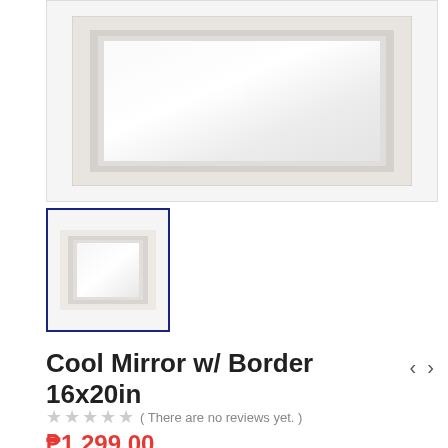[Figure (photo): Main product photo of a rectangular mirror with white/silver frame and beveled edge, shown large]
[Figure (photo): Thumbnail image of the same mirror product with white frame, selected state indicated by dark blue border]
Cool Mirror w/ Border 16x20in
( There are no reviews yet. )
₱1,299.00
Cool 4719 WK 501T Mirror 16x20in